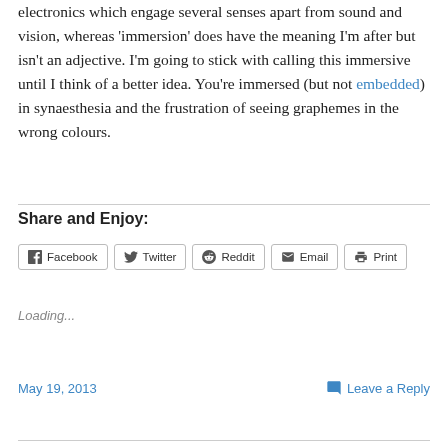electronics which engage several senses apart from sound and vision, whereas ‘immersion’ does have the meaning I’m after but isn’t an adjective. I’m going to stick with calling this immersive until I think of a better idea. You’re immersed (but not embedded) in synaesthesia and the frustration of seeing graphemes in the wrong colours.
Share and Enjoy:
Loading...
May 19, 2013   Leave a Reply